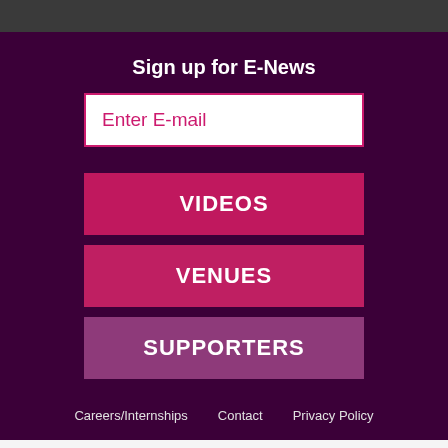Sign up for E-News
Enter E-mail
VIDEOS
VENUES
SUPPORTERS
Careers/Internships   Contact   Privacy Policy
English   Español (Spanish)